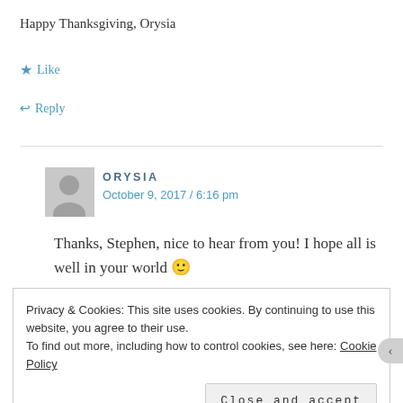Happy Thanksgiving, Orysia
★ Like
↩ Reply
ORYSIA
October 9, 2017 / 6:16 pm
Thanks, Stephen, nice to hear from you! I hope all is well in your world 🙂
Privacy & Cookies: This site uses cookies. By continuing to use this website, you agree to their use.
To find out more, including how to control cookies, see here: Cookie Policy
Close and accept